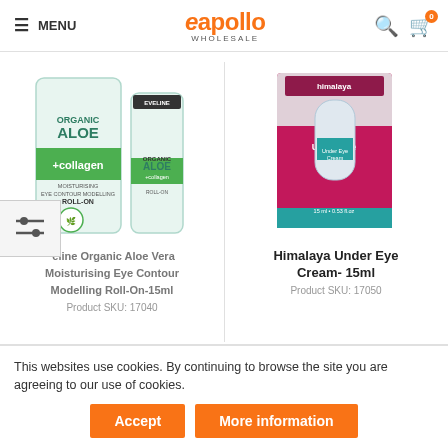MENU | eapollo WHOLESALE | [search] [cart 0]
[Figure (photo): Eveline Organic Aloe Vera Moisturising Eye Contour Modelling Roll-On 15ml product image showing two product tubes/bottles with green and white packaging]
[Figure (photo): Himalaya Under Eye Cream 15ml product image showing pink and teal box packaging]
Eveline Organic Aloe Vera Moisturising Eye Contour Modelling Roll-On-15ml
Product SKU: 17040
Himalaya Under Eye Cream- 15ml
Product SKU: 17050
This websites use cookies. By continuing to browse the site you are agreeing to our use of cookies.
Accept
More information